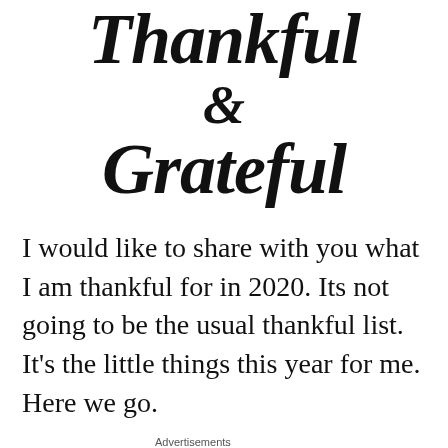[Figure (illustration): Decorative script/calligraphy text reading 'Thankful & Grateful' in black cursive lettering on white background]
I would like to share with you what I am thankful for in 2020. Its not going to be the usual thankful list. It's the little things this year for me. Here we go.
Advertisements
[Figure (other): Advertisement banner with a logo on the left (light grey background) and a colorful gradient orange/pink background on the right with a dark circular icon]